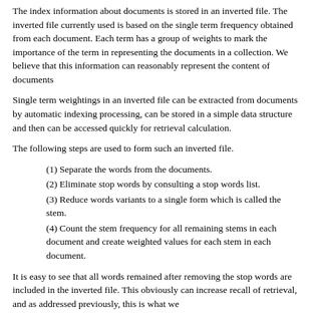The index information about documents is stored in an inverted file. The inverted file currently used is based on the single term frequency obtained from each document. Each term has a group of weights to mark the importance of the term in representing the documents in a collection. We believe that this information can reasonably represent the content of documents
Single term weightings in an inverted file can be extracted from documents by automatic indexing processing, can be stored in a simple data structure and then can be accessed quickly for retrieval calculation.
The following steps are used to form such an inverted file.
(1) Separate the words from the documents.
(2) Eliminate stop words by consulting a stop words list.
(3) Reduce words variants to a single form which is called the stem.
(4) Count the stem frequency for all remaining stems in each document and create weighted values for each stem in each document.
It is easy to see that all words remained after removing the stop words are included in the inverted file. This obviously can increase recall of retrieval, and as addressed previously, this is what we